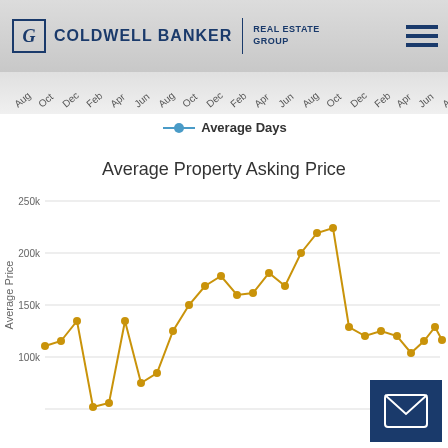[Figure (logo): Coldwell Banker Real Estate Group logo with stylized G in a box]
[Figure (continuous-plot): Line chart showing Average Property Asking Price over time (monthly from ~Aug through Aug+), with values ranging from approximately 100k to 225k. A gold/yellow line with dot markers shows fluctuating property prices. A separate average-days series shown in legend (blue line with dot). The asking price line peaks around 220k mid-chart, dips to ~75k early on, and ends around 130k.]